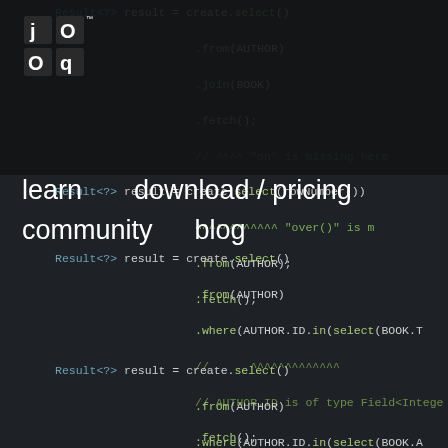[Figure (screenshot): jOOQ documentation website screenshot showing navigation bar with logo, learn, download/pricing, community, blog links, and dark-themed code editor background with Java code snippets]
learn   download / pricing
community   blog
Result<?> result = create.select()
                    .from(AUTHOR)
                    .join(BOOK)
                    .fetch();
// ^^^^ "on" is missing here
Result<?> result = create.select(rowNumber())
                    ^^^^^^^^^^^^ "over()" is m
                    .from(AUTHOR);
                    .fetch();
Result<?> result = create.select()
                    .from(AUTHOR)
                    .where(AUTHOR.ID.in(select(BOOK.T
//                      ^^^^^^^^^^^^^
// AUTHOR.ID is of type Field<Intege
                    .fetch();
Result<?> result = create.select()
                    .from(AUTHOR)
                    .where(AUTHOR.ID.in(select(BOOK.A
//                      ^^^^^^^^^^^^^
// AUTHOR.ID is of degree 1 but subs
                    .fetch();